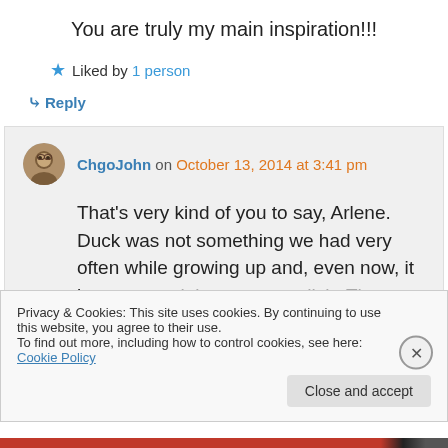You are truly my main inspiration!!!
★ Liked by 1 person
↳ Reply
ChgoJohn on October 13, 2014 at 3:41 pm
That's very kind of you to say, Arlene. Duck was not something we had very often while growing up and, even now, it is more a celebratory type dish. These duck posts
Privacy & Cookies: This site uses cookies. By continuing to use this website, you agree to their use.
To find out more, including how to control cookies, see here: Cookie Policy
Close and accept